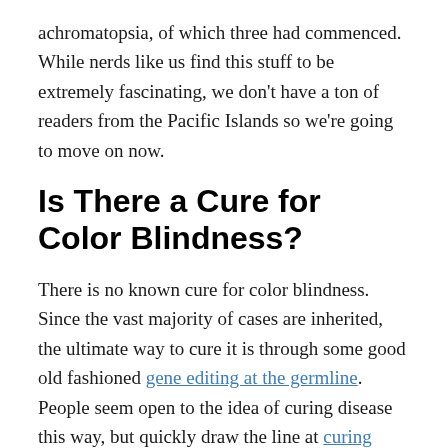achromatopsia, of which three had commenced. While nerds like us find this stuff to be extremely fascinating, we don't have a ton of readers from the Pacific Islands so we're going to move on now.
Is There a Cure for Color Blindness?
There is no known cure for color blindness. Since the vast majority of cases are inherited, the ultimate way to cure it is through some good old fashioned gene editing at the germline. People seem open to the idea of curing disease this way, but quickly draw the line at curing stupid, so it's hard to say what we end up doing with this newly found power. It's probably safe to say that there won't be this type of cure implemented anytime soon.
All sorts in a number...